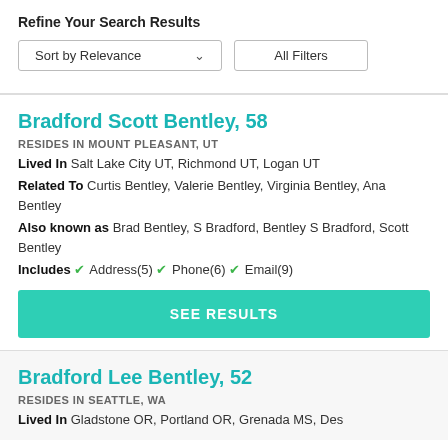Refine Your Search Results
Sort by Relevance   All Filters
Bradford Scott Bentley, 58
RESIDES IN MOUNT PLEASANT, UT
Lived In  Salt Lake City UT, Richmond UT, Logan UT
Related To  Curtis Bentley, Valerie Bentley, Virginia Bentley, Ana Bentley
Also known as  Brad Bentley, S Bradford, Bentley S Bradford, Scott Bentley
Includes ✓ Address(5) ✓ Phone(6) ✓ Email(9)
SEE RESULTS
Bradford Lee Bentley, 52
RESIDES IN SEATTLE, WA
Lived In  Gladstone OR, Portland OR, Grenada MS, Des